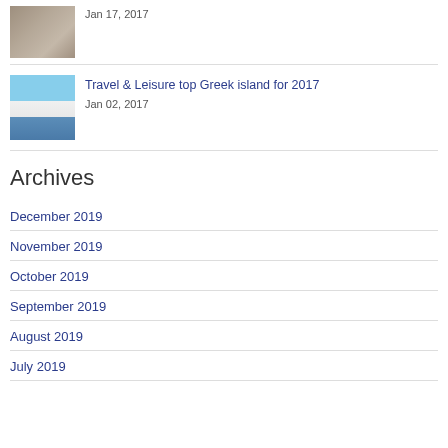[Figure (photo): Thumbnail photo of ancient Greek statues (caryatids or similar), beige/brown tones]
Jan 17, 2017
[Figure (photo): Thumbnail photo of a white Greek island town with blue sea in foreground, Syros or similar Cycladic island]
Travel & Leisure top Greek island for 2017
Jan 02, 2017
Archives
December 2019
November 2019
October 2019
September 2019
August 2019
July 2019